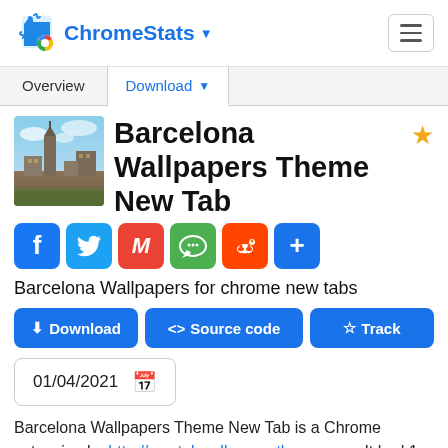ChromeStats
Barcelona Wallpapers Theme New Tab
[Figure (photo): Thumbnail image of Barcelona cityscape/skyline]
Barcelona Wallpapers for chrome new tabs
Download | Source code | Track
01/04/2021
Barcelona Wallpapers Theme New Tab is a Chrome extension by http://newtabwallpaperstheme.com. It had 1 weekly active users and an average rating of